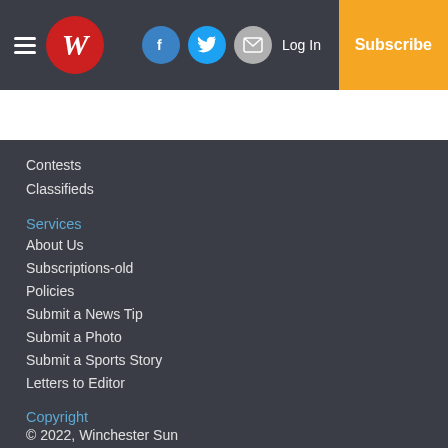Winchester Sun navigation header with logo, social icons, Log In, and Subscribe button
Contests
Classifieds
Services
About Us
Subscriptions-old
Policies
Submit a News Tip
Submit a Photo
Submit a Sports Story
Letters to Editor
Copyright
© 2022, Winchester Sun